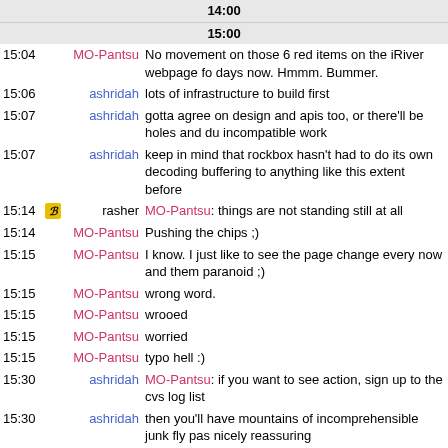| Time | Icon | Nick | Message |
| --- | --- | --- | --- |
| 14:00 |  |  |  |
| 15:00 |  |  |  |
| 15:04 |  | MO-Pantsu | No movement on those 6 red items on the iRiver webpage fo days now. Hmmm. Bummer. |
| 15:06 |  | ashridah | lots of infrastructure to build first |
| 15:07 |  | ashridah | gotta agree on design and apis too, or there'll be holes and du incompatible work |
| 15:07 |  | ashridah | keep in mind that rockbox hasn't had to do its own decoding buffering to anything like this extent before |
| 15:14 | [icon] | rasher | MO-Pantsu: things are not standing still at all |
| 15:14 |  | MO-Pantsu | Pushing the chips ;) |
| 15:15 |  | MO-Pantsu | I know. I just like to see the page change every now and them paranoid ;) |
| 15:15 |  | MO-Pantsu | wrong word. |
| 15:15 |  | MO-Pantsu | wrooed |
| 15:15 |  | MO-Pantsu | worried |
| 15:15 |  | MO-Pantsu | typo hell :) |
| 15:30 |  | ashridah | MO-Pantsu: if you want to see action, sign up to the cvs log list |
| 15:30 |  | ashridah | then you'll have mountains of incomprehensible junk fly pas nicely reassuring |
| 15:31 |  | ashridah | it gets noisy tho |
| 15:32 |  | Baggder | any cygwin user around who feels like testing some rather ex build changes for me? |
| 15:33 | [icon] | rasher | sorry, not a cygwin user |